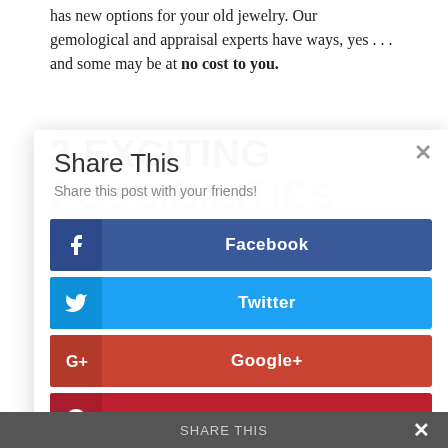has new options for your old jewelry. Our gemological and appraisal experts have ways, yes … and some may be at no cost to you.
3 EXCITING POSSIBILITIES
1. SELL TO US FOR A CASH OFFER
Move that unwanted jewelry from a jewelry box or safe deposit box to our office. We'll make an evaluation of value and offer you cash. We specialize in giving you the highest cash offer for diamonds, gold, Swiss watches and estate jewelry.
[Figure (screenshot): Share This modal overlay with title 'Share This', subtitle 'Share this post with your friends!', and four social share buttons: Facebook (dark blue), Twitter (light blue), Google+ (red-orange), Pinterest (dark red). A close button (×) is in the top right corner.]
If your jewelry has the precious stones, especially diamonds, you have a great option to